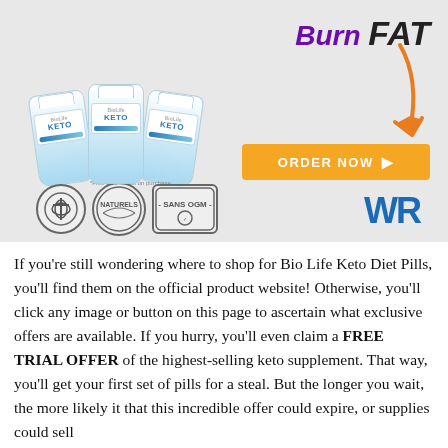[Figure (infographic): Advertisement banner for Bio Life Keto Diet Pills showing three white keto supplement bottles, 'BURN FAT' text in purple and black italic, an orange arrow pointing down-right, an orange 'ORDER NOW' button, three certification badges (medical symbol, NATURELS, SANS OGM), and a 'WR' logo in blue.]
If you're still wondering where to shop for Bio Life Keto Diet Pills, you'll find them on the official product website! Otherwise, you'll click any image or button on this page to ascertain what exclusive offers are available. If you hurry, you'll even claim a FREE TRIAL OFFER of the highest-selling keto supplement. That way, you'll get your first set of pills for a steal. But the longer you wait, the more likely it that this incredible offer could expire, or supplies could sell